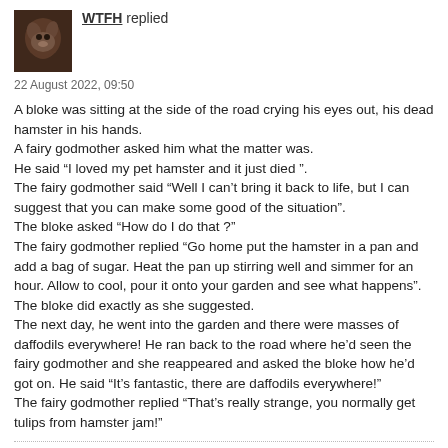[Figure (photo): Small avatar image of a dog/animal, dark brown tones]
WTFH replied
22 August 2022, 09:50
A bloke was sitting at the side of the road crying his eyes out, his dead hamster in his hands.
A fairy godmother asked him what the matter was.
He said “I loved my pet hamster and it just died ”.
The fairy godmother said “Well I can’t bring it back to life, but I can suggest that you can make some good of the situation”.
The bloke asked “How do I do that ?”
The fairy godmother replied “Go home put the hamster in a pan and add a bag of sugar. Heat the pan up stirring well and simmer for an hour. Allow to cool, pour it onto your garden and see what happens”.
The bloke did exactly as she suggested.
The next day, he went into the garden and there were masses of daffodils everywhere! He ran back to the road where he’d seen the fairy godmother and she reappeared and asked the bloke how he’d got on. He said “It’s fantastic, there are daffodils everywhere!”
The fairy godmother replied “That’s really strange, you normally get tulips from hamster jam!”
[Figure (photo): Small avatar image of a dog/animal, dark brown tones]
WTFH replied
22 August 2022, 08:56